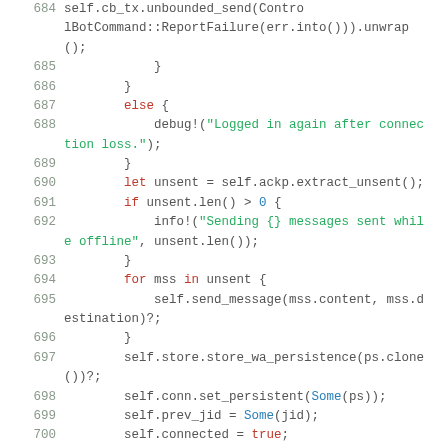[Figure (screenshot): Source code listing in Rust, lines 684–700, showing code for handling reconnection logic including sending unsent messages and storing persistence data.]